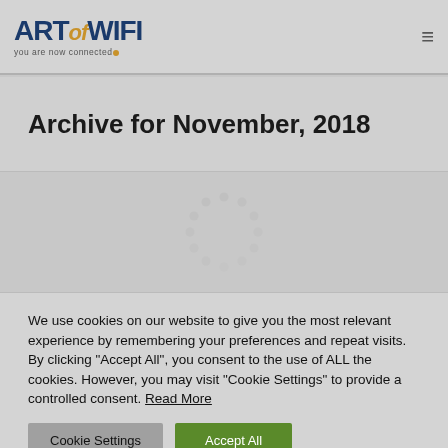ART of WIFI — you are now connected
Archive for November, 2018
[Figure (other): Loading spinner (circular dashed ring indicator)]
We use cookies on our website to give you the most relevant experience by remembering your preferences and repeat visits. By clicking "Accept All", you consent to the use of ALL the cookies. However, you may visit "Cookie Settings" to provide a controlled consent. Read More
Cookie Settings | Accept All